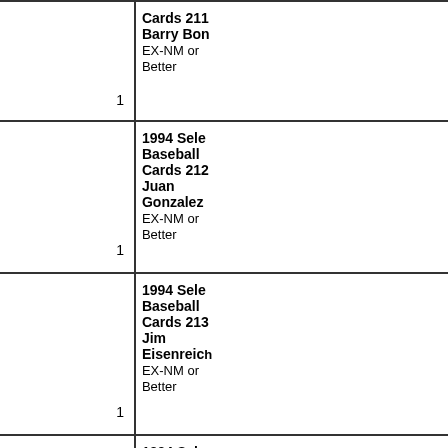| Item | Qty | Description |
| --- | --- | --- |
|  | 1 | 1994 Select Baseball Cards 211 Barry Bonds EX-NM or Better |
|  | 1 | 1994 Select Baseball Cards 212 Juan Gonzalez EX-NM or Better |
|  | 1 | 1994 Select Baseball Cards 213 Jim Eisenreich EX-NM or Better |
|  | 1 | 1994 Select Baseball Cards 214 Ivan Rodriguez EX-NM or Better |
|  |  | 1994 Select Baseball ... |